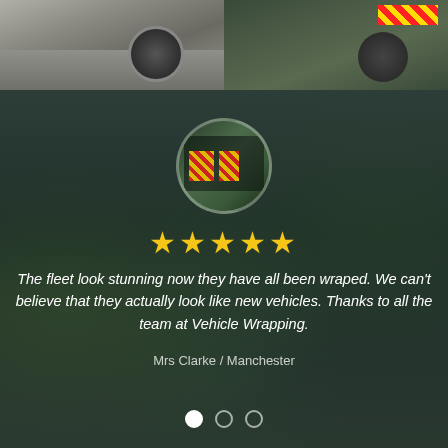[Figure (photo): Two vehicle photos side by side: left shows rear of a grey/silver van or car transporter, right shows rear of vehicles with red and yellow chevron/reflective markings]
[Figure (photo): Dark background testimonial section with circular avatar showing fleet of trucks with safety markings, five gold stars, italic white quote text, and attribution. Background shows blurred vehicles/trucks.]
The fleet look stunning now they have all been wraped. We can't believe that they actually look like new vehicles. Thanks to all the team at Vehicle Wrapping.
Mrs Clarke / Manchester